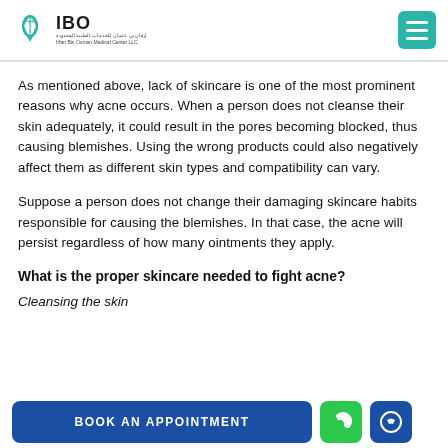IBO Irfan Bin Osman Medical Center LLC
As mentioned above, lack of skincare is one of the most prominent reasons why acne occurs. When a person does not cleanse their skin adequately, it could result in the pores becoming blocked, thus causing blemishes. Using the wrong products could also negatively affect them as different skin types and compatibility can vary.
Suppose a person does not change their damaging skincare habits responsible for causing the blemishes. In that case, the acne will persist regardless of how many ointments they apply.
What is the proper skincare needed to fight acne?
Cleansing the skin
BOOK AN APPOINTMENT